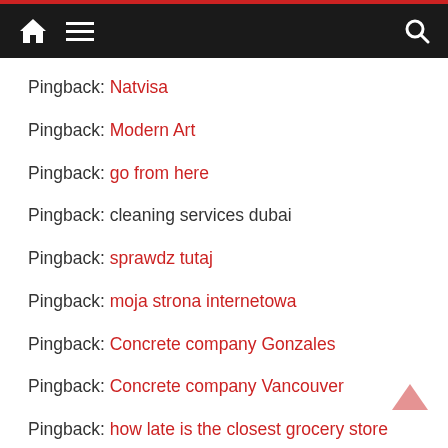Navigation bar with home, menu, and search icons
Pingback: Natvisa
Pingback: Modern Art
Pingback: go from here
Pingback: cleaning services dubai
Pingback: sprawdz tutaj
Pingback: moja strona internetowa
Pingback: Concrete company Gonzales
Pingback: Concrete company Vancouver
Pingback: how late is the closest grocery store open
Pingback: Interior painters near me